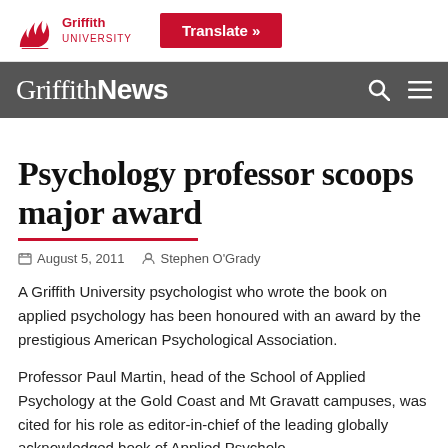[Figure (logo): Griffith University logo with red torch/flame icon and text 'Griffith UNIVERSITY']
[Figure (other): Red 'Translate »' button in top navigation bar]
Griffith News
Psychology professor scoops major award
August 5, 2011   Stephen O'Grady
A Griffith University psychologist who wrote the book on applied psychology has been honoured with an award by the prestigious American Psychological Association.
Professor Paul Martin, head of the School of Applied Psychology at the Gold Coast and Mt Gravatt campuses, was cited for his role as editor-in-chief of the leading globally acknowledged book of Applied Psychology